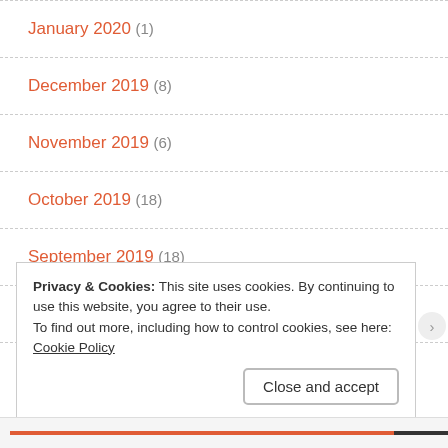January 2020 (1)
December 2019 (8)
November 2019 (6)
October 2019 (18)
September 2019 (18)
August 2019 (17)
July 2019 (20)
Privacy & Cookies: This site uses cookies. By continuing to use this website, you agree to their use.
To find out more, including how to control cookies, see here: Cookie Policy
Close and accept